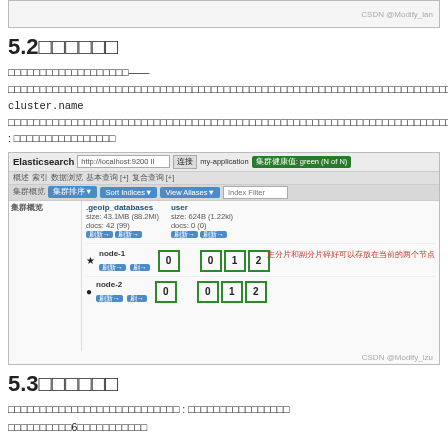[Figure (screenshot): Top strip showing partial Elasticsearch screenshot with watermark 'CSDN @Modify_lan']
5.2□□□□□□
□□□□□□□□□□□□□□□□□□□——□□□□□□□□□□□□□□□□□□□□□□□□□□□□□□□□□□□□□□□□□□□□□□□□□□□□□□□□□□□□□□□□□□□□□□□□ cluster.name □□□□□□□□□□□□□□□□□□□□□□□□□□□□□□□□□□□□□□□□□□□□□□□□□□□□□□□□□□□□□□□□□□□□□□□□□□□□□□□□□□□□□□□□□□□□□□□□□□□□□□□□□□□□□□□□□□□□□□□□□□□□ : □□□□□□□□□□□□□□□□
[Figure (screenshot): Elasticsearch head plugin UI showing cluster 'my-application' with green status, two nodes node-1 and node-2, indices .geoip_databases and user with shards 0,1,2 on each node. Annotation in red: 主分片和副分片碎好可以存放在当前的两个节点]
5.3□□□□□□
□□□□□□□□□□□□□□□□□□□□□□□□□□□ : □□□□□□□□□□□□□□□□
□□□□□□□□□□6□□□□□□□□□□□